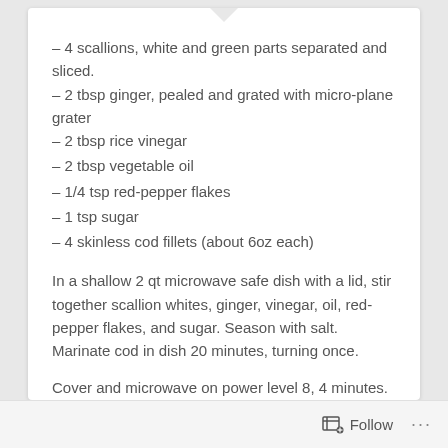– 4 scallions, white and green parts separated and sliced.
– 2 tbsp ginger, pealed and grated with micro-plane grater
– 2 tbsp rice vinegar
– 2 tbsp vegetable oil
– 1/4 tsp red-pepper flakes
– 1 tsp sugar
– 4 skinless cod fillets (about 6oz each)
In a shallow 2 qt microwave safe dish with a lid, stir together scallion whites, ginger, vinegar, oil, red-pepper flakes, and sugar. Season with salt. Marinate cod in dish 20 minutes, turning once.
Cover and microwave on power level 8, 4 minutes. Let